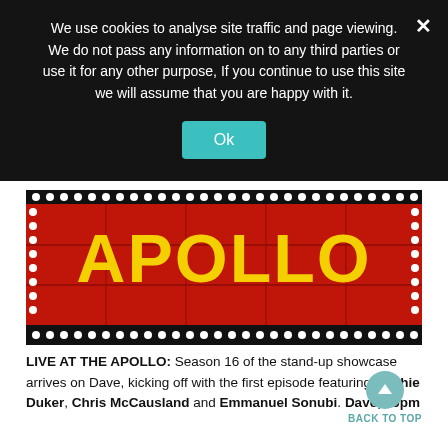We use cookies to analyse site traffic and page viewing. We do not pass any information on to any third parties or use it for any other purpose, If you continue to use this site we will assume that you are happy with it.
[Figure (photo): Close-up of the Apollo Theatre marquee sign with large yellow letters on a red background with white dot border lights spelling 'APOLLO']
LIVE AT THE APOLLO: Season 16 of the stand-up showcase arrives on Dave, kicking off with the first episode featuring Sophie Duker, Chris McCausland and Emmanuel Sonubi. Dave, 10pm